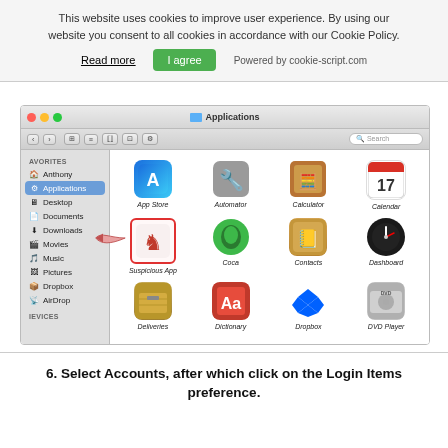This website uses cookies to improve user experience. By using our website you consent to all cookies in accordance with our Cookie Policy.
Read more   I agree   Powered by cookie-script.com
[Figure (screenshot): macOS Finder window showing Applications folder with a highlighted 'Suspicious App' icon (chess knight piece) with red border and a hand/arrow annotation pointing to it. Other apps visible: App Store, Automator, Calculator, Calendar, Coca, Contacts, Dashboard, Deliveries, Dictionary, Dropbox, DVD Player. Sidebar shows Favorites with Applications selected.]
6. Select Accounts, after which click on the Login Items preference.